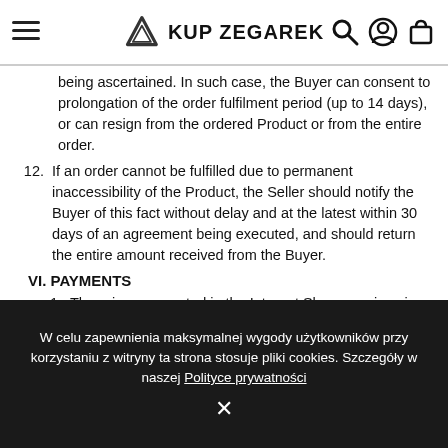KUP ZEGAREK
being ascertained. In such case, the Buyer can consent to prolongation of the order fulfilment period (up to 14 days), or can resign from the ordered Product or from the entire order.
12. If an order cannot be fulfilled due to permanent inaccessibility of the Product, the Seller should notify the Buyer of this fact without delay and at the latest within 30 days of an agreement being executed, and should return the entire amount received from the Buyer.
VI. PAYMENTS
1. The prices presented in the Internet Shop are given in gross amounts (i.e. inclusive of VAT).
2. A Proof of Purchase is attached by the Seller to each order.
W celu zapewnienia maksymalnej wygody użytkowników przy korzystaniu z witryny ta strona stosuje pliki cookies. Szczegóły w naszej Polityce prywatności